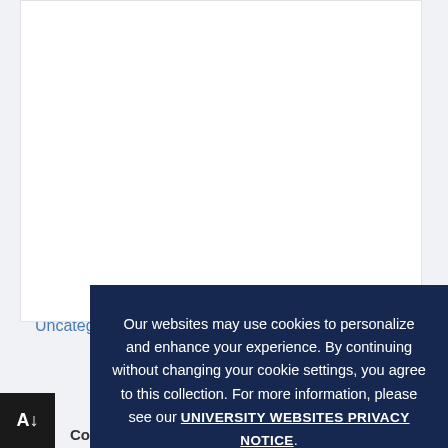Mental Health and Wellness (23)
Other (9)
Plant Science (7)
Research (18)
Stories (3)
Student Engagement (46)
Study Abroad and Travel (15)
The Environment (48)
Uncategorized (5)
Our websites may use cookies to personalize and enhance your experience. By continuing without changing your cookie settings, you agree to this collection. For more information, please see our UNIVERSITY WEBSITES PRIVACY NOTICE.
OK ✓
College Ambassadors